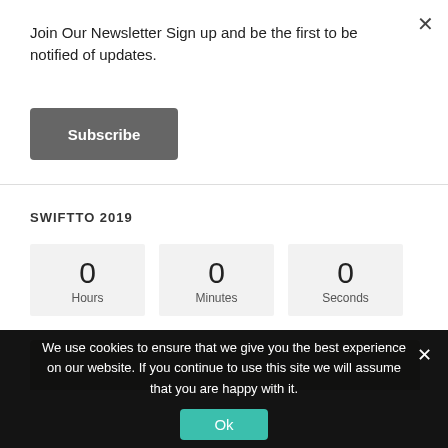Join Our Newsletter Sign up and be the first to be notified of updates.
Subscribe
SWIFTTO 2019
0 Hours
0 Minutes
0 Seconds
We use cookies to ensure that we give you the best experience on our website. If you continue to use this site we will assume that you are happy with it.
Ok